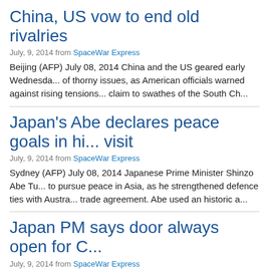China, US vow to end old rivalries
July, 9, 2014 from SpaceWar Express
Beijing (AFP) July 08, 2014 China and the US geared early Wednesda... of thorny issues, as American officials warned against rising tensions... claim to swathes of the South Ch...
Japan's Abe declares peace goals in hi... visit
July, 9, 2014 from SpaceWar Express
Sydney (AFP) July 08, 2014 Japanese Prime Minister Shinzo Abe Tu... to pursue peace in Asia, as he strengthened defence ties with Austra... trade agreement. Abe used an historic a...
Japan PM says door always open for C...
July, 9, 2014 from SpaceWar Express
Sydney (AFP) July 08, 2014 Japanese Prime Minister Shinzo Abe Tu... tensions with neighbour China, saying the countries were "inextricabl... open for dialogue. Tokyo and Beijing have lon...